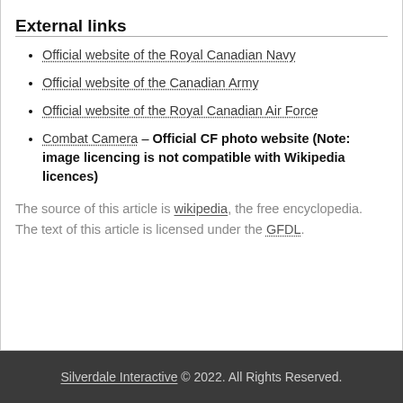External links
Official website of the Royal Canadian Navy
Official website of the Canadian Army
Official website of the Royal Canadian Air Force
Combat Camera – Official CF photo website (Note: image licencing is not compatible with Wikipedia licences)
The source of this article is wikipedia, the free encyclopedia.  The text of this article is licensed under the GFDL.
Silverdale Interactive © 2022. All Rights Reserved.